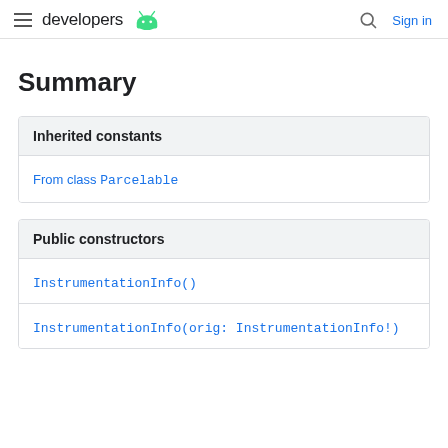developers | Sign in
Summary
| Inherited constants |
| --- |
| From class Parcelable |
| Public constructors |
| --- |
| InstrumentationInfo() |
| InstrumentationInfo(orig: InstrumentationInfo!) |